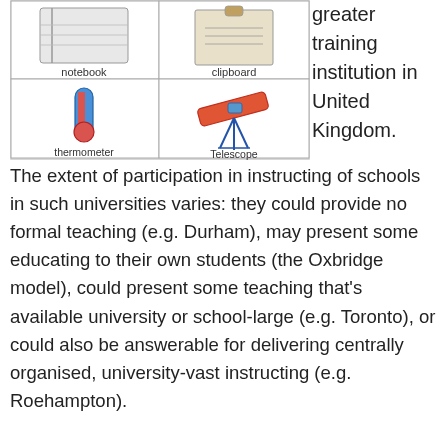[Figure (illustration): Grid of educational vocabulary flashcards showing notebook, clipboard, thermometer, and telescope with labels]
greater training institution in United Kingdom. The extent of participation in instructing of schools in such universities varies: they could provide no formal teaching (e.g. Durham), may present some educating to their own students (the Oxbridge model), could present some teaching that's available university or school-large (e.g. Toronto), or could also be answerable for delivering centrally organised, university-vast instructing (e.g. Roehampton).